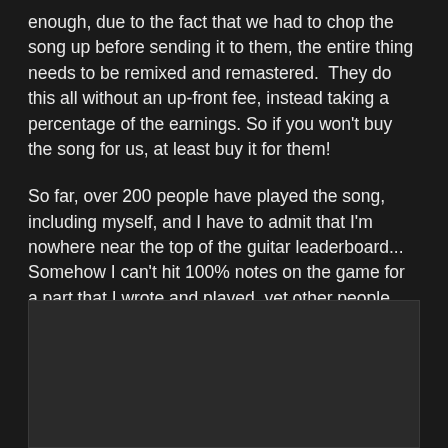enough, due to the fact that we had to chop the song up before sending it to them, the entire thing needs to be remixed and remastered.  They do this all without an up-front fee, instead taking a percentage of the earnings. So if you won't buy the song for us, at least buy it for them!
So far, over 200 people have played the song, including myself, and I have to admit that I'm nowhere near the top of the guitar leaderboard... Somehow I can't hit 100% notes on the game for a part that I wrote and played, yet other people can!
[Figure (other): Dark rectangular image placeholder area at the bottom of the page]